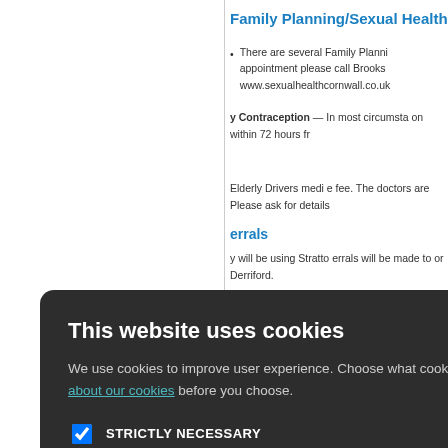Family Planning/Sexual Health
There are several Family Planning appointment please call Brooks www.sexualhealthcornwall.co.uk
y Contraception — In most circumstances within 72 hours fr
Elderly Drivers medi fee. The doctors are Please ask for details
errals
y will be using Stratt errals will be made to or Derriford.
[Figure (screenshot): Cookie consent modal dialog on dark background. Title: 'This website uses cookies'. Body text: 'We use cookies to improve user experience. Choose what cookies you allow us to use. You can read more about our cookies before you choose.' Checkboxes: STRICTLY NECESSARY (checked), PERFORMANCE (unchecked), TARGETING (unchecked), FUNCTIONALITY (unchecked). Buttons: ACCEPT ALL (green), DECLINE ALL (outline).]